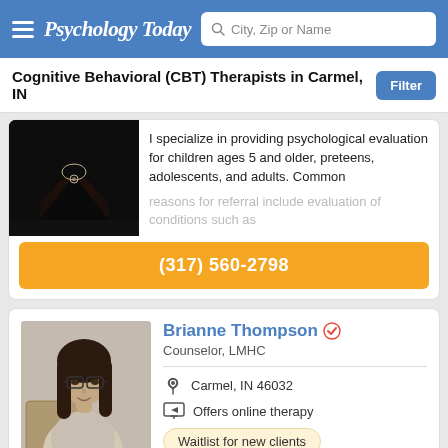Psychology Today — City, Zip or Name search bar
Cognitive Behavioral (CBT) Therapists in Carmel, IN
I specialize in providing psychological evaluation for children ages 5 and older, preteens, adolescents, and adults. Common reasons for referral include evaluation of conditions such as
(317) 560-2798
Brianne Thompson
Counselor, LMHC
Carmel, IN 46032
Offers online therapy
Waitlist for new clients